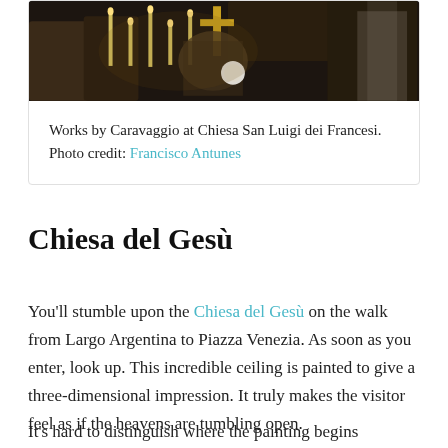[Figure (photo): Dark interior photograph of church showing candles and artwork at Chiesa San Luigi dei Francesi, with golden cross and candlesticks visible]
Works by Caravaggio at Chiesa San Luigi dei Francesi. Photo credit: Francisco Antunes
Chiesa del Gesù
You'll stumble upon the Chiesa del Gesù on the walk from Largo Argentina to Piazza Venezia. As soon as you enter, look up. This incredible ceiling is painted to give a three-dimensional impression. It truly makes the visitor feel as if the heavens are tumbling open.
It's hard to distinguish where the painting begins